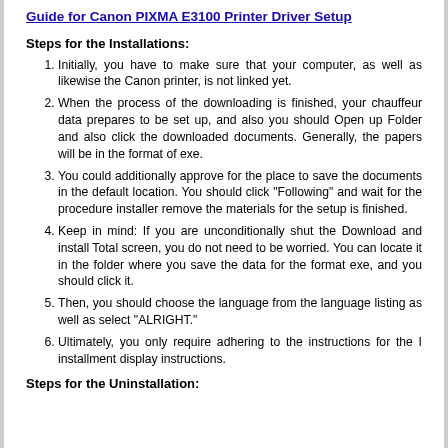Guide for Canon PIXMA E3100 Printer Driver Setup
Steps for the Installations:
Initially, you have to make sure that your computer, as well as likewise the Canon printer, is not linked yet.
When the process of the downloading is finished, your chauffeur data prepares to be set up, and also you should Open up Folder and also click the downloaded documents. Generally, the papers will be in the format of exe.
You could additionally approve for the place to save the documents in the default location. You should click "Following" and wait for the procedure installer remove the materials for the setup is finished.
Keep in mind: If you are unconditionally shut the Download and install Total screen, you do not need to be worried. You can locate it in the folder where you save the data for the format exe, and you should click it.
Then, you should choose the language from the language listing as well as select "ALRIGHT."
Ultimately, you only require adhering to the instructions for the I installment display instructions.
Steps for the Uninstallation: